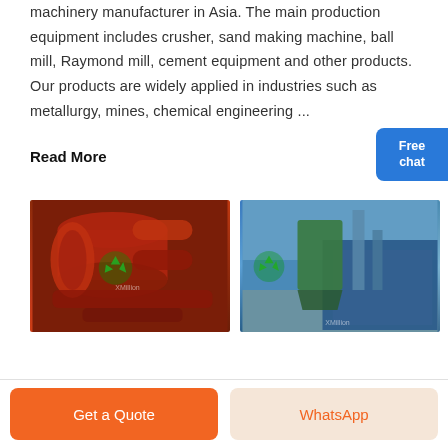machinery manufacturer in Asia. The main production equipment includes crusher, sand making machine, ball mill, Raymond mill, cement equipment and other products. Our products are widely applied in industries such as metallurgy, mines, chemical engineering ...
Read More
[Figure (photo): Close-up of red industrial machinery parts with recycling logo watermark]
[Figure (photo): Industrial plant exterior with green and blue structures and recycling logo watermark]
Get a Quote
WhatsApp